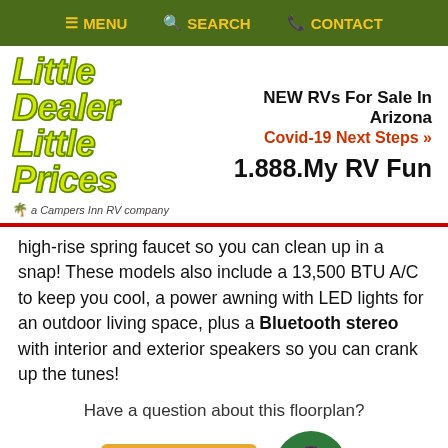≡ MENU  🔍 SEARCH  📞 CONTACT
[Figure (logo): Little Dealer Little Prices logo - a Campers Inn RV company]
NEW RVs For Sale In Arizona
Covid-19 Next Steps »
1.888.My RV Fun
high-rise spring faucet so you can clean up in a snap! These models also include a 13,500 BTU A/C to keep you cool, a power awning with LED lights for an outdoor living space, plus a Bluetooth stereo with interior and exterior speakers so you can crank up the tunes!
Have a question about this floorplan?
Contact Us
Text Us